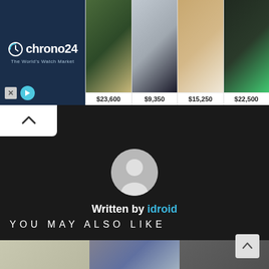[Figure (screenshot): Chrono24 advertisement banner showing luxury watches with prices: $23,600, $9,350, $15,250, $22,500]
Written by idroid
YOU MAY ALSO LIKE
[Figure (photo): Bottom strip showing product/device images in a 'You May Also Like' section]